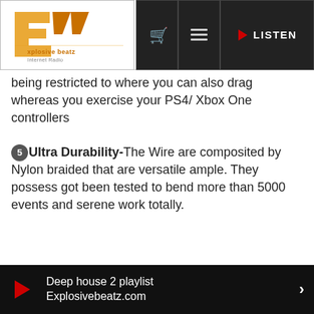Explosive Beatz Internet Radio — navigation header with logo, cart, menu, and LISTEN buttons
being restricted to where you can also drag whereas you exercise your PS4/ Xbox One controllers
❺Ultra Durability-The Wire are composited by Nylon braided that are versatile ample. They possess got been tested to bend more than 5000 events and serene work totally.
❺ Top rate Toughen-provide 24 month Exchange Guarantee and 100% Pleasure Guarantee. Rapidly and simple-to-reach Customer Provider and 24/7 electronic mail toughen.
[Figure (photo): Product photo showing 2pack cable packaging with braided cables]
Deep house 2 playlist
Explosivebeatz.com